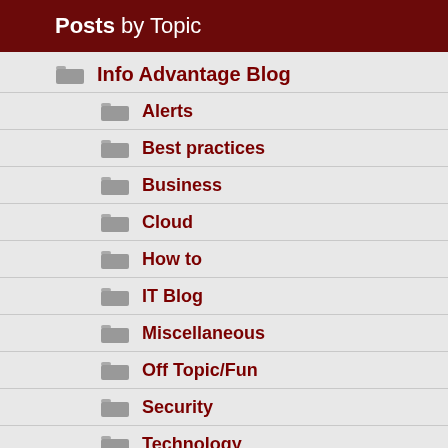Posts by Topic
Info Advantage Blog
Alerts
Best practices
Business
Cloud
How to
IT Blog
Miscellaneous
Off Topic/Fun
Security
Technology